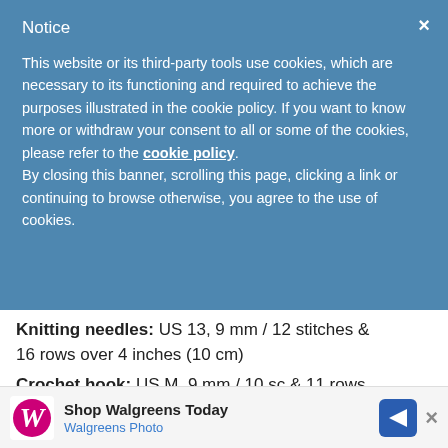Notice
This website or its third-party tools use cookies, which are necessary to its functioning and required to achieve the purposes illustrated in the cookie policy. If you want to know more or withdraw your consent to all or some of the cookies, please refer to the cookie policy.
By closing this banner, scrolling this page, clicking a link or continuing to browse otherwise, you agree to the use of cookies.
Knitting needles: US 13, 9 mm / 12 stitches & 16 rows over 4 inches (10 cm)
Crochet hook: US M, 9 mm / 10 sc & 11 rows over 4 inches (10 cm)
[Figure (screenshot): Walgreens advertisement banner: Shop Walgreens Today, Walgreens Photo, with blue arrow logo and close button]